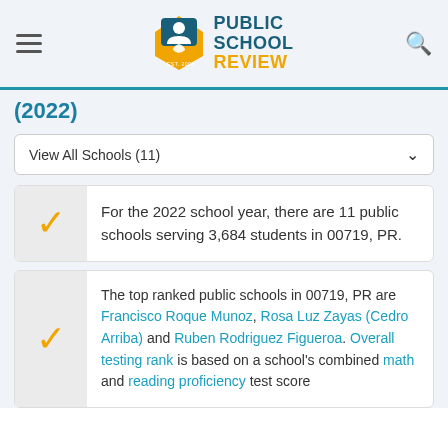Public School Review EST. 2003
(2022)
View All Schools (11)
For the 2022 school year, there are 11 public schools serving 3,684 students in 00719, PR.
The top ranked public schools in 00719, PR are Francisco Roque Munoz, Rosa Luz Zayas (Cedro Arriba) and Ruben Rodriguez Figueroa. Overall testing rank is based on a school's combined math and reading proficiency test score